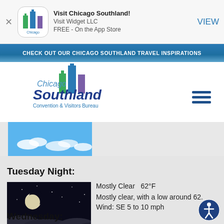[Figure (screenshot): App store banner with Chicago Southland logo icon]
Visit Chicago Southland!
Visit Widget LLC
FREE - On the App Store
VIEW
CHECK OUT OUR CHICAGO SOUTHLAND TRAVEL INSPIRATIONS
[Figure (logo): Chicago Southland Convention & Visitors Bureau logo]
[Figure (photo): Partial sky photo with blue sky and white clouds]
Tuesday Night:
[Figure (photo): Night sky photo with moon and clouds]
Mostly Clear   62°F
Mostly clear, with a low around 62.
Wind: SE 5 to 10 mph
Wednesday: